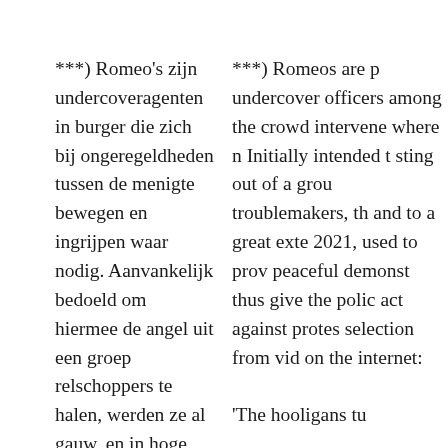***) Romeo's zijn undercoveragenten in burger die zich bij ongeregeldheden tussen de menigte bewegen en ingrijpen waar nodig. Aanvankelijk bedoeld om hiermee de angel uit een groep relschoppers te halen, werden ze al gauw, en in hoge mate in 2020 en 2021, juist gebruikt om bij vreedzame demonstraties geweld uit te lokken en daarmee de politie een excuus te geven om op te treden tegen demonstranten. Een selectie uit op het internet beschikbare video's:
***) Romeos are p undercover officers among the crowd intervene where n Initially intended t sting out of a grou troublemakers, th and to a great exte 2021, used to prov peaceful demonst thus give the polic act against protes selection from vid on the internet: 'The hooligans tu